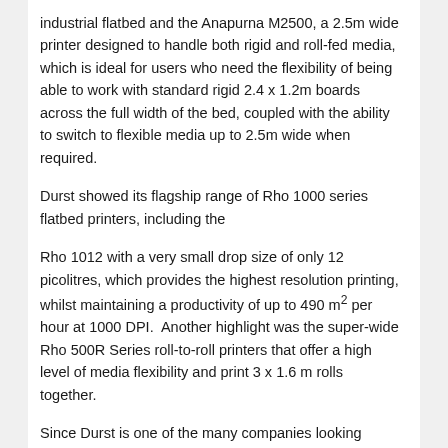industrial flatbed and the Anapurna M2500, a 2.5m wide printer designed to handle both rigid and roll-fed media, which is ideal for users who need the flexibility of being able to work with standard rigid 2.4 x 1.2m boards across the full width of the bed, coupled with the ability to switch to flexible media up to 2.5m wide when required.
Durst showed its flagship range of Rho 1000 series flatbed printers, including the
Rho 1012 with a very small drop size of only 12 picolitres, which provides the highest resolution printing, whilst maintaining a productivity of up to 490 m² per hour at 1000 DPI.  Another highlight was the super-wide Rho 500R Series roll-to-roll printers that offer a high level of media flexibility and print 3 x 1.6 m rolls together.
Since Durst is one of the many companies looking towards new markets, it also used FESPA to debut the latest